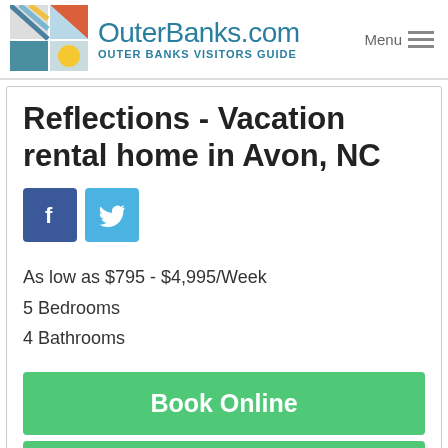[Figure (logo): OuterBanks.com logo with colorful geometric grid icon and Visitors Guide tagline, plus Menu hamburger button]
Reflections - Vacation rental home in Avon, NC
[Figure (infographic): Facebook and Twitter social share buttons]
As low as $795 - $4,995/Week
5 Bedrooms
4 Bathrooms
Book Online
Get Information